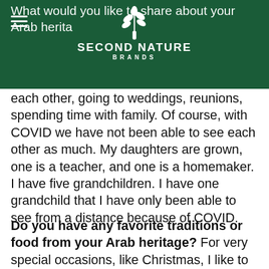Second Nature Brands
What would you like to share about your Arab heritage? ...strong community. We enjoy, spending time with each other, going to weddings, reunions, spending time with family. Of course, with COVID we have not been able to see each other as much. My daughters are grown, one is a teacher, and one is a homemaker. I have five grandchildren. I have one grandchild that I have only been able to see from a distance because of COVID.
Do you have any favorite traditions or food from your Arab heritage? For very special occasions, like Christmas, I like to